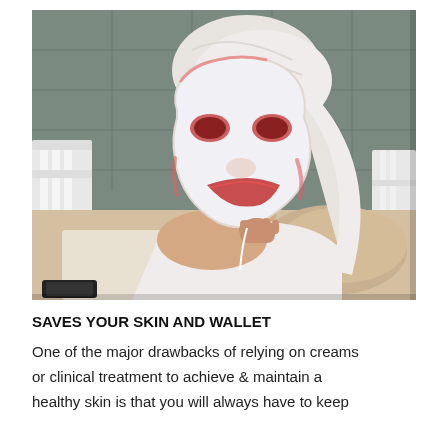[Figure (photo): A woman wearing a white LED light therapy face mask with red light glowing around the eyes and mouth area. She has a white towel wrapped around her head and is wearing a white towel/robe around her body. She is sitting on a bed with beige pillows and a white headboard, in a room with gray tiled walls. She holds the mask slightly away from her face with one hand. A TV remote is visible in the bottom-left corner.]
SAVES YOUR SKIN AND WALLET
One of the major drawbacks of relying on creams or clinical treatment to achieve & maintain a healthy skin is that you will always have to keep